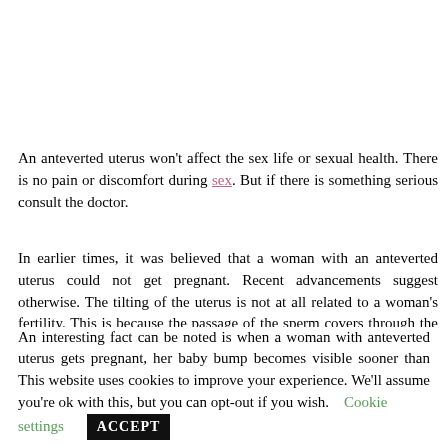An anteverted uterus won't affect the sex life or sexual health. There is no pain or discomfort during sex. But if there is something serious consult the doctor.
In earlier times, it was believed that a woman with an anteverted uterus could not get pregnant. Recent advancements suggest otherwise. The tilting of the uterus is not at all related to a woman's fertility. This is because the passage of the sperm covers through the uterus and the further process of fertilization has no connection with the orientation of the uterus.
An interesting fact can be noted is when a woman with anteverted uterus gets pregnant, her baby bump becomes visible sooner than This website uses cookies to improve your experience. We'll assume you're ok with this, but you can opt-out if you wish.
Cookie settings  ACCEPT